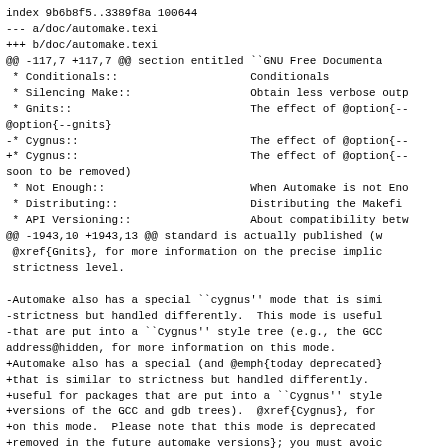index 9b6b8f5..3389f8a 100644
--- a/doc/automake.texi
+++ b/doc/automake.texi
@@ -117,7 +117,7 @@ section entitled ``GNU Free Documenta
 * Conditionals::                    Conditionals
 * Silencing Make::                  Obtain less verbose outp
 * Gnits::                           The effect of @option{--
@option{--gnits}
-* Cygnus::                          The effect of @option{--
+* Cygnus::                          The effect of @option{--
soon to be removed)
 * Not Enough::                      When Automake is not Eno
 * Distributing::                    Distributing the Makefi
 * API Versioning::                  About compatibility betw
@@ -1943,10 +1943,13 @@ standard is actually published (w
 @xref{Gnits}, for more information on the precise implic
 strictness level.

-Automake also has a special ``cygnus'' mode that is simi
-strictness but handled differently.  This mode is useful
-that are put into a ``Cygnus'' style tree (e.g., the GCC
address@hidden, for more information on this mode.
+Automake also has a special (and @emph{today deprecated}
+that is similar to strictness but handled differently.
+useful for packages that are put into a ``Cygnus'' style
+versions of the GCC and gdb trees).  @xref{Cygnus}, for
+on this mode.  Please note that this mode is deprecated
+removed in the future automake versions}; you must avoic
+packages, and should stop using it in existing packages